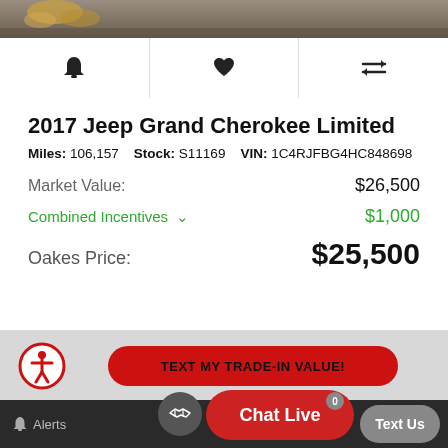[Figure (screenshot): Top portion of a vehicle photo showing rocky/dirt ground background with yellow leaves]
[Figure (infographic): Icon toolbar row with bell (alerts), heart (favorite), and compare arrows icons]
2017 Jeep Grand Cherokee Limited
Miles: 106,157   Stock: S11169   VIN: 1C4RJFBG4HC848698
Market Value: $26,500
Combined Incentives ∨ $1,000
Oakes Price: $25,500
[Figure (map): Gray map section placeholder]
[Figure (infographic): Accessibility icon (person in circle), TEXT MY TRADE-IN VALUE! red button]
Alerts   [handshake icon]   Chat Live   0   Text Us